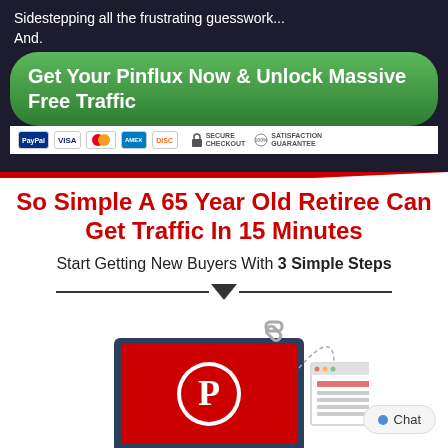Sidestepping all the frustrating guesswork...
And.
[Figure (other): Green rounded CTA button with text: Get Your Pinflux Now & Unlock Massive Free Traffic, followed by payment method icons (PayPal, Visa, Mastercard, Amex, Discover) and Secure Checkout and Satisfaction Guarantee badges]
So Simple A 65 Year Old Retiree Can Get Traffic In 15 Minutes
Start Getting New Buyers With 3 Simple Steps
[Figure (illustration): Illustration of a laptop with a red Pinterest logo screen, a chain/link icon above, and a web browser window to the right, representing Pinterest traffic to a website]